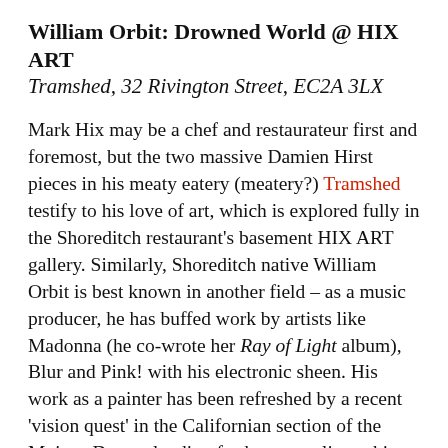William Orbit: Drowned World @ HIX ART
Tramshed, 32 Rivington Street, EC2A 3LX
Mark Hix may be a chef and restaurateur first and foremost, but the two massive Damien Hirst pieces in his meaty eatery (meatery?) Tramshed testify to his love of art, which is explored fully in the Shoreditch restaurant's basement HIX ART gallery. Similarly, Shoreditch native William Orbit is best known in another field – as a music producer, he has buffed work by artists like Madonna (he co-wrote her Ray of Light album), Blur and Pink! with his electronic sheen. His work as a painter has been refreshed by a recent 'vision quest' in the Californian section of the Mojave Desert, lending further surreality to his